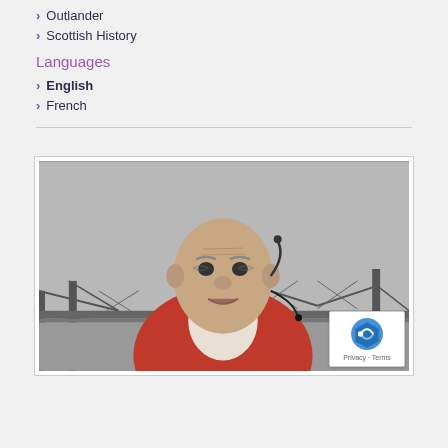Outlander
Scottish History
Languages
English
French
[Figure (photo): An older bald man wearing a red cardigan and a headset microphone, speaking outdoors with a large steel railway bridge (Forth Bridge) visible in the black-and-white background.]